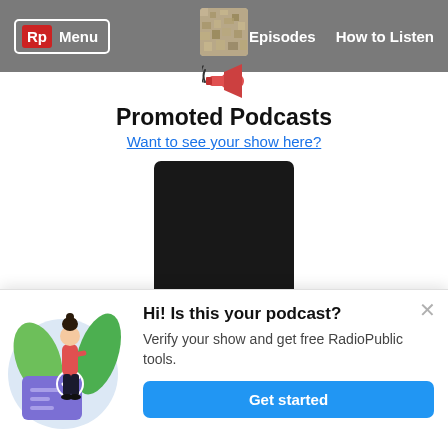Rp Menu | Episodes | How to Listen
[Figure (illustration): Megaphone icon below navigation bar]
Promoted Podcasts
Want to see your show here?
[Figure (photo): Black square podcast artwork for 20 Minute Morning Show]
20 Minute Morning Show
The 20 minute morning show is a a snap shot of technology and media...
[Figure (illustration): Popup panel: woman with checkmark card illustration, green leaves background. Hi! Is this your podcast? Verify your show and get free RadioPublic tools. Get started button.]
Hi! Is this your podcast?
Verify your show and get free RadioPublic tools.
Get started